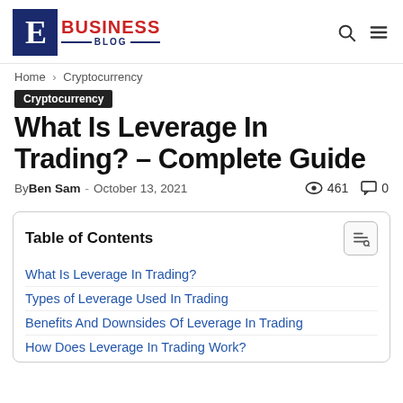E BUSINESS BLOG
Home › Cryptocurrency
Cryptocurrency
What Is Leverage In Trading? – Complete Guide
By Ben Sam - October 13, 2021   461   0
| Table of Contents |
| --- |
| What Is Leverage In Trading? |
| Types of Leverage Used In Trading |
| Benefits And Downsides Of Leverage In Trading |
| How Does Leverage In Trading Work? |